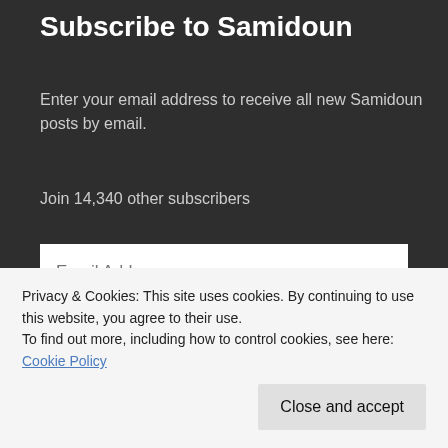Subscribe to Samidoun
Enter your email address to receive all new Samidoun posts by email.
Join 14,340 other subscribers
Email Address
Subscribe
Privacy & Cookies: This site uses cookies. By continuing to use this website, you agree to their use.
To find out more, including how to control cookies, see here: Cookie Policy
Close and accept